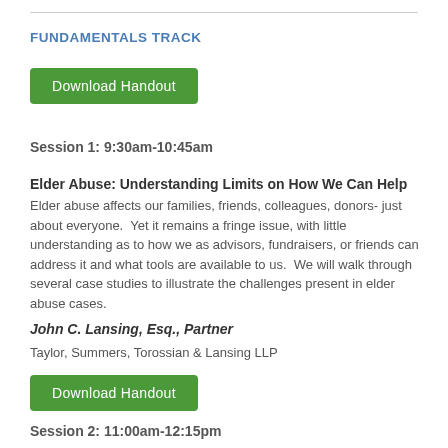FUNDAMENTALS TRACK
[Figure (other): Green Download Handout button]
Session 1: 9:30am-10:45am
Elder Abuse: Understanding Limits on How We Can Help
Elder abuse affects our families, friends, colleagues, donors- just about everyone.  Yet it remains a fringe issue, with little understanding as to how we as advisors, fundraisers, or friends can address it and what tools are available to us.  We will walk through several case studies to illustrate the challenges present in elder abuse cases.
John C. Lansing, Esq., Partner
Taylor, Summers, Torossian & Lansing LLP
[Figure (other): Green Download Handout button]
Session 2: 11:00am-12:15pm